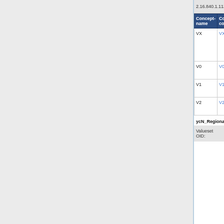2.16.840.1.113883.2.4.3.11.60.40.2.4.27.7
| Conceptname | Conceptcode | Codesystemname |
| --- | --- | --- |
| VX | VX | V_Veneuz… |
| V0 | V0 | V_Veneuz… |
| V1 | V1 | V_Veneuz… |
| V2 | V2 | V_Veneuz… |
ycN_RegionalLymphnodesCode
Valueset OID: